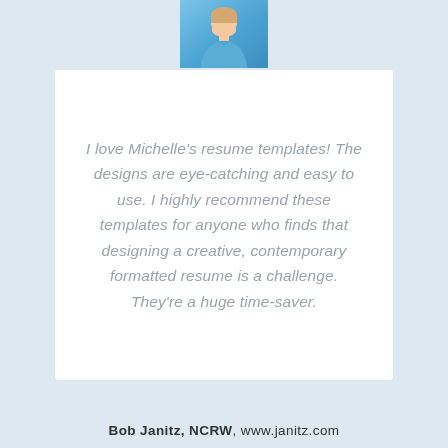[Figure (photo): Head and shoulders photo of a man in a blue shirt, cropped at top of page]
I love Michelle’s resume templates! The designs are eye-catching and easy to use. I highly recommend these templates for anyone who finds that designing a creative, contemporary formatted resume is a challenge. They’re a huge time-saver.
Bob Janitz, NCRW, www.janitz.com